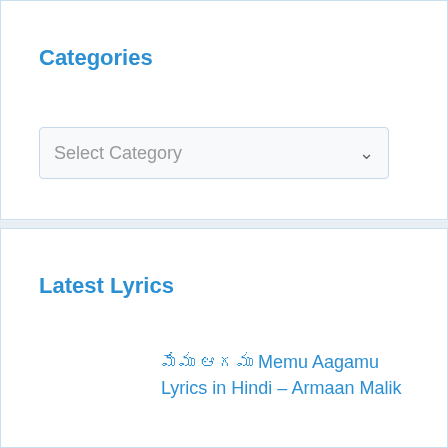Categories
Select Category
Latest Lyrics
మేము ఆగము Memu Aagamu Lyrics in Hindi – Armaan Malik